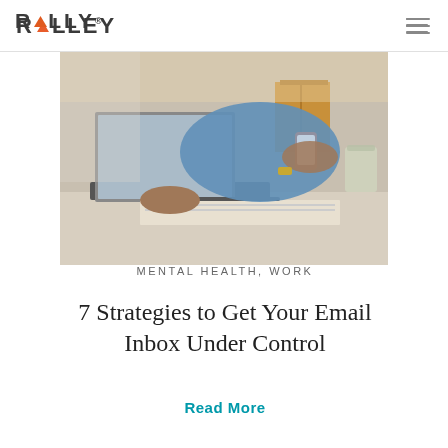RALLY
[Figure (photo): Person in blue denim shirt working on laptop while holding a smartphone, with folders and a glass on the desk in the background. Office setting with warm lighting.]
MENTAL HEALTH, WORK
7 Strategies to Get Your Email Inbox Under Control
Read More